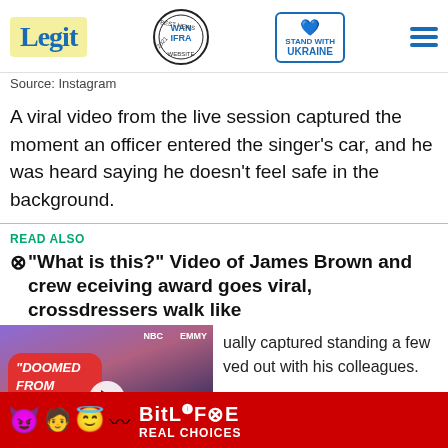Legit | WAN IFRA 2021 Best News Website in Africa | Stand with Ukraine
Source: Instagram
A viral video from the live session captured the moment an officer entered the singer's car, and he was heard saying he doesn't feel safe in the background.
READ ALSO
"What is this?" Video of James Brown and crew receiving award goes viral, crossdressers walk like
[Figure (screenshot): Video thumbnail showing two people with 'DOOMED FROM THE START' text overlay, NBC and EMMY logos visible, play button in center, red down-arrow button at bottom]
ually captured standing a few ved out with his colleagues.
[Figure (screenshot): BitLife advertisement banner with emojis and 'REAL CHOICES' text on red background]